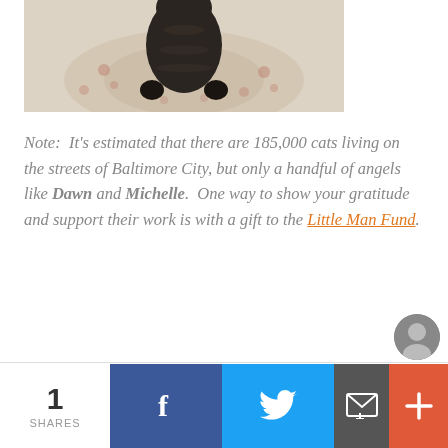[Figure (photo): Top portion of a cat photo showing a dark tabby cat from above, standing on a patterned rug with floral designs]
Note:  It's estimated that there are 185,000 cats living on the streets of Baltimore City, but only a handful of angels like Dawn and Michelle.  One way to show your gratitude and support their work is with a gift to the Little Man Fund.
1 SHARES | Facebook | Twitter | Email | More